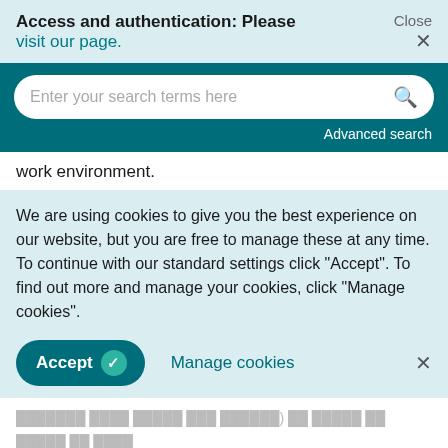Access and authentication: Please visit our page.
[Figure (screenshot): Search bar with placeholder text 'Enter your search terms here' and a magnifying glass icon, on a dark teal background. 'Advanced search' link at the bottom right.]
work environment.
We are using cookies to give you the best experience on our website, but you are free to manage these at any time. To continue with our standard settings click "Accept". To find out more and manage your cookies, click "Manage cookies".
Accept   Manage cookies   ×
Canada) and August 2020 when the data were